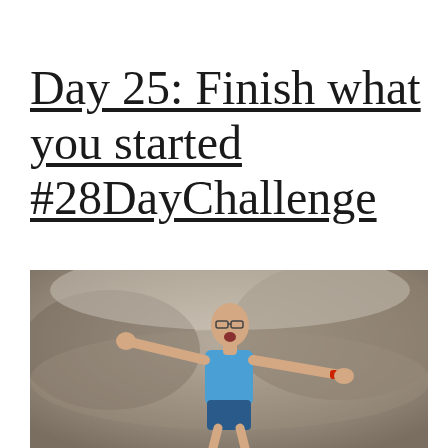Day 25: Finish what you started #28DayChallenge
[Figure (photo): An elderly man in a blue athletic tank top with arms outstretched and mouth open in celebration, appearing to finish a race, with a blurred natural background.]